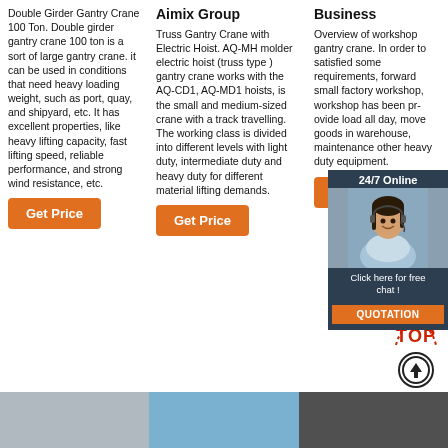Double Girder Gantry Crane 100 Ton. Double girder gantry crane 100 ton is a sort of large gantry crane. it can be used in conditions that need heavy loading weight, such as port, quay, and shipyard, etc. It has excellent properties, like heavy lifting capacity, fast lifting speed, reliable performance, and strong wind resistance, etc.
Get Price
Aimix Group
Truss Gantry Crane with Electric Hoist. AQ-MH molder electric hoist (truss type ) gantry crane works with the AQ-CD1, AQ-MD1 hoists, is the small and medium-sized crane with a track travelling. The working class is divided into different levels with light duty, intermediate duty and heavy duty for different material lifting demands.
Get Price
Business
Overview of workshop gantry crane. In order to satisfied some requirements, forward small factory workshop, workshop has been provide load all day, move goods in warehouse, maintenance other heavy duty equipment.
[Figure (photo): Chat widget showing 24/7 Online support with female agent photo, 'Click here for free chat!' text and QUOTATION button]
Get Price
[Figure (photo): TOP scroll-to-top button with red lettering and circle arrow icon]
[Figure (photo): Bottom strip with three thumbnail images of cranes/industrial equipment]